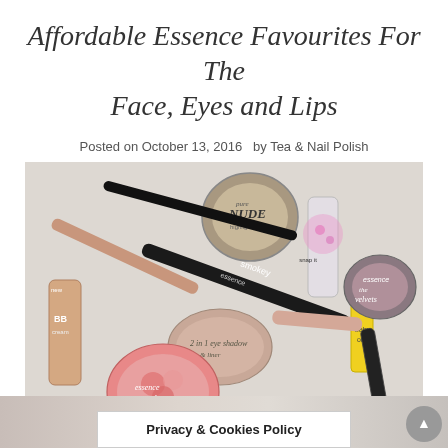Affordable Essence Favourites For The Face, Eyes and Lips
Posted on October 13, 2016  by Tea & Nail Polish
[Figure (photo): Flatlay photo of multiple Essence makeup products including BB cream, mosaic blush, smokey eyeliner, pure nude highlighter, eyeshadow, nail polish, and other cosmetics arranged on a white surface]
Privacy & Cookies Policy